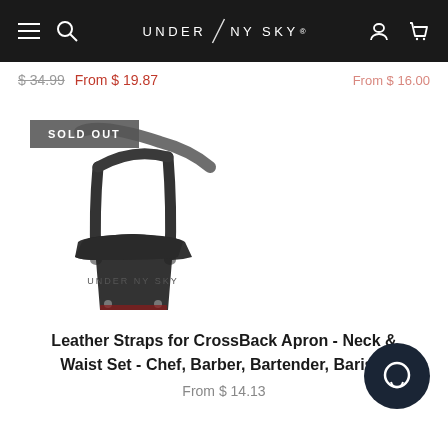UNDER NY SKY
$ 34.99  From $ 19.87
[Figure (photo): Leather straps product photo showing crossback apron neck and waist straps in black leather with metal hardware, sold out badge overlay]
Leather Straps for CrossBack Apron - Neck & Waist Set - Chef, Barber, Bartender, Barista
From $ 14.13